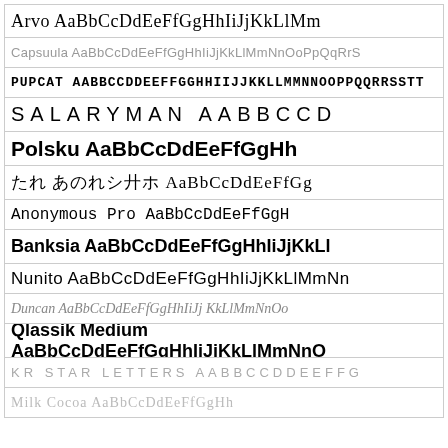[Figure (other): Font specimen showcase page displaying multiple typefaces with sample alphabet characters. Each row shows a different font rendering.]
Arvo AaBbCcDdEeFfGgHhIiJjKkLlMm
Capsuula AaBbCcDdEeFfGgHhIiJjKkLlMmNnOoPpQqRrS
PUPCAT aaBBCCDDeeFFGGHHIIJJKKLLMMNNOOPPQQRRSSTT
SALARYMAN AABBCCD
Polsku AaBbCcDdEeFfGgHh
たれ あのれシ廾ホ AaBbCcDdEeFfGg
Anonymous Pro AaBbCcDdEeFfGgH
Banksia AaBbCcDdEeFfGgHhIiJjKkLl
Nunito AaBbCcDdEeFfGgHhIiJjKkLlMmNn
Duncan AaBbCcDdEeFfGgHhIiJj KkLlMmNnOo
Qlassik Medium AaBbCcDdEeFfGgHhIiJjKkLlMmNnO
KR STAR LETTERS AABBCCDDEEFFG
Milk Cocoa AaBbCcDdEeFfGgHh